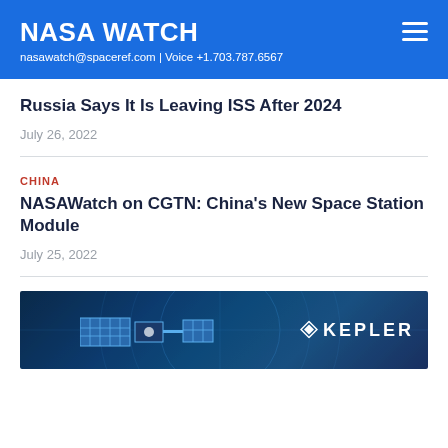NASA WATCH
nasawatch@spaceref.com | Voice +1.703.787.6567
Russia Says It Is Leaving ISS After 2024
July 26, 2022
NASAWatch on CGTN: China's New Space Station Module
July 25, 2022
[Figure (photo): Kepler satellite in space with solar panels, dark blue background with circuit-line overlay and KEPLER logo]